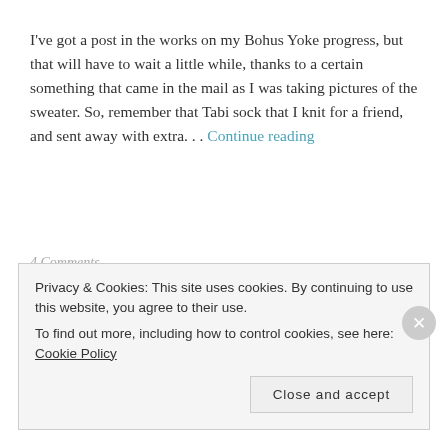I've got a post in the works on my Bohus Yoke progress, but that will have to wait a little while, thanks to a certain something that came in the mail as I was taking pictures of the sweater. So, remember that Tabi sock that I knit for a friend, and sent away with extra... Continue reading
4 Comments
first snow
Privacy & Cookies: This site uses cookies. By continuing to use this website, you agree to their use. To find out more, including how to control cookies, see here: Cookie Policy
Close and accept